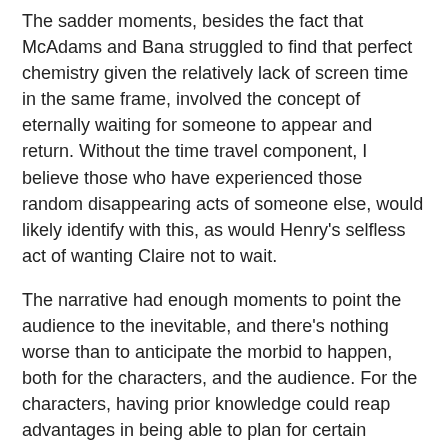The sadder moments, besides the fact that McAdams and Bana struggled to find that perfect chemistry given the relatively lack of screen time in the same frame, involved the concept of eternally waiting for someone to appear and return. Without the time travel component, I believe those who have experienced those random disappearing acts of someone else, would likely identify with this, as would Henry's selfless act of wanting Claire not to wait.
The narrative had enough moments to point the audience to the inevitable, and there's nothing worse than to anticipate the morbid to happen, both for the characters, and the audience. For the characters, having prior knowledge could reap advantages in being able to plan for certain events, and I suppose being ready is half the battle won. Then again as an audience, we constantly hope that things would change for the better, and it is this constant interaction of hope that would engage you throughout the last act
If there's a complaint, it's how director Robert Schwentke failed to make Eric Bana look different between 20-30-40 years of age, save for some shots of grey hair, and moments